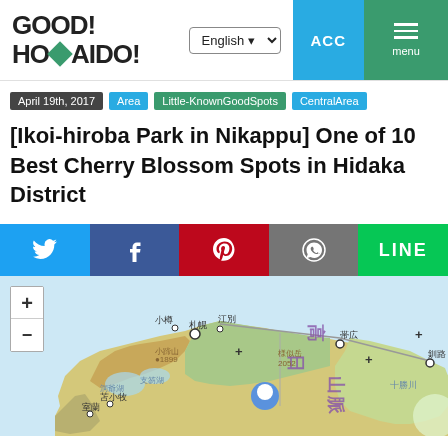GOOD! HOKKAIDO!
April 19th, 2017
Area
Little-KnownGoodSpots
CentralArea
[Ikoi-hiroba Park in Nikappu] One of 10 Best Cherry Blossom Spots in Hidaka District
[Figure (infographic): Social share buttons: Twitter, Facebook, Pinterest, WhatsApp, LINE]
[Figure (map): Map of Hokkaido, Japan with a location pin near the Hidaka District. Shows cities including Sapporo, Otaru, Ebetsu, Tomakomai, Muroran, Obihiro, Kushiro. Japanese text labels including 日高山脈. Zoom controls (+ and -) on left side.]